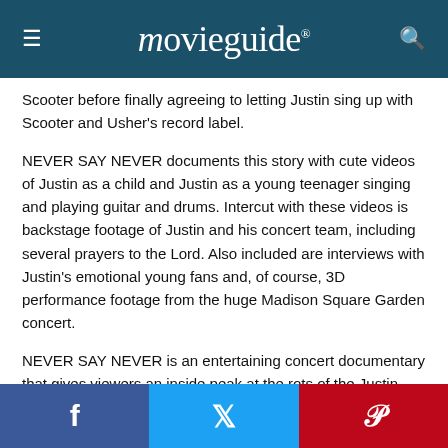movieguide®
Scooter before finally agreeing to letting Justin sing up with Scooter and Usher's record label.
NEVER SAY NEVER documents this story with cute videos of Justin as a child and Justin as a young teenager singing and playing guitar and drums. Intercut with these videos is backstage footage of Justin and his concert team, including several prayers to the Lord. Also included are interviews with Justin's emotional young fans and, of course, 3D performance footage from the huge Madison Square Garden concert.
NEVER SAY NEVER is an entertaining concert documentary that gives viewers an inside peak at the rots of the Justin Bieber phenomenon. The 3D effects are well done.
Best yet, the movie is not afraid to show the Christian
f  Twitter  P